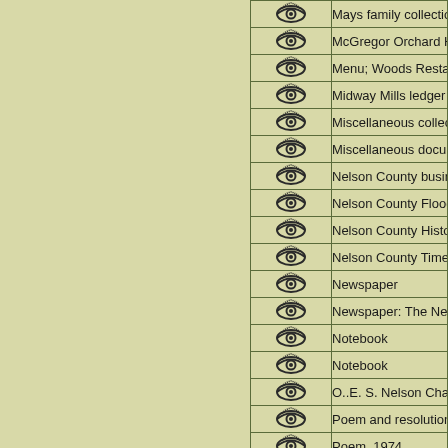| Icon | Description |
| --- | --- |
| [eye] | Mays family collectio… |
| [eye] | McGregor Orchard H… |
| [eye] | Menu; Woods Resta… |
| [eye] | Midway Mills ledger … |
| [eye] | Miscellaneous collec… |
| [eye] | Miscellaneous docum… |
| [eye] | Nelson County busin… |
| [eye] | Nelson County Flood… |
| [eye] | Nelson County Histo… |
| [eye] | Nelson County Time… |
| [eye] | Newspaper |
| [eye] | Newspaper: The Nel… |
| [eye] | Notebook |
| [eye] | Notebook |
| [eye] | O..E. S. Nelson Cha… |
| [eye] | Poem and resolution… |
| [eye] | Poem, 1974 |